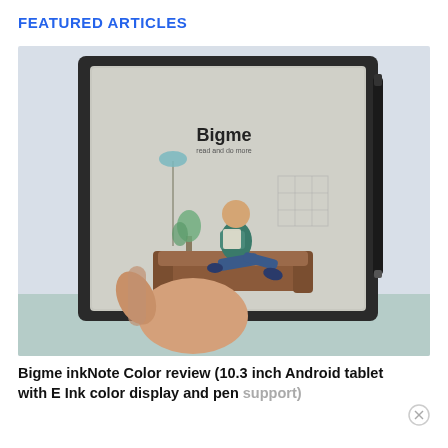FEATURED ARTICLES
[Figure (photo): A hand holding a Bigme inkNote Color e-ink tablet showing the Bigme brand logo and an illustration of a person sitting on a couch reading, with a stylus attached to the side of the device.]
Bigme inkNote Color review (10.3 inch Android tablet with E Ink color display and pen support)